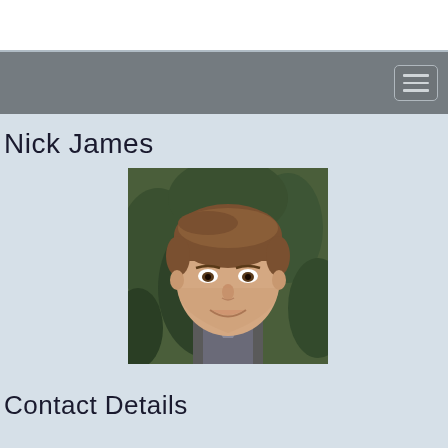Nick James
[Figure (photo): Profile photo of Nick James, a young man with short brown hair, smiling, wearing a dark jacket, with green foliage in the background.]
Contact Details